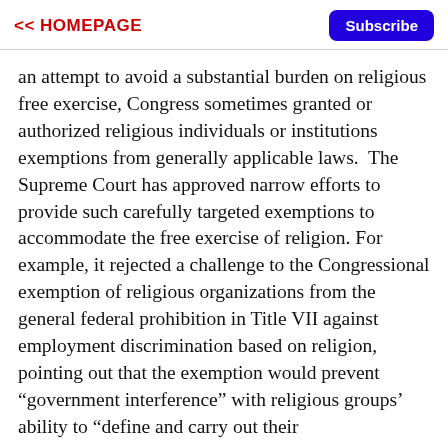<< HOMEPAGE  Subscribe
an attempt to avoid a substantial burden on religious free exercise, Congress sometimes granted or authorized religious individuals or institutions exemptions from generally applicable laws.  The Supreme Court has approved narrow efforts to provide such carefully targeted exemptions to accommodate the free exercise of religion. For example, it rejected a challenge to the Congressional exemption of religious organizations from the general federal prohibition in Title VII against employment discrimination based on religion, pointing out that the exemption would prevent “government interference” with religious groups’ ability to “define and carry out their